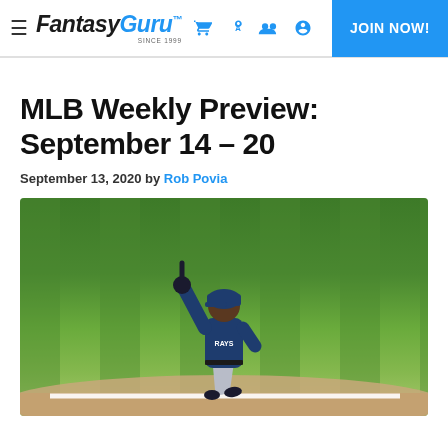FantasyGuru — JOIN NOW!
MLB Weekly Preview: September 14 – 20
September 13, 2020 by Rob Povia
[Figure (photo): Baseball player in Tampa Bay Rays uniform jogging on the field pointing one finger upward, green grass stadium background]